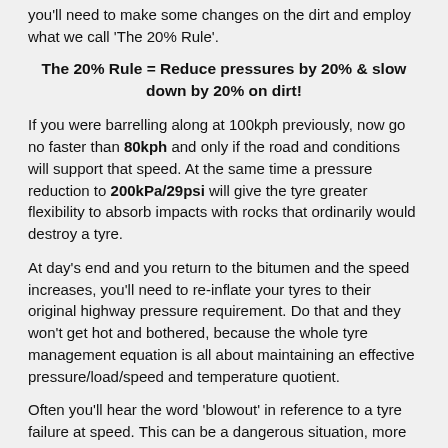you'll need to make some changes on the dirt and employ what we call 'The 20% Rule'.
The 20% Rule = Reduce pressures by 20% & slow down by 20% on dirt!
If you were barrelling along at 100kph previously, now go no faster than 80kph and only if the road and conditions will support that speed. At the same time a pressure reduction to 200kPa/29psi will give the tyre greater flexibility to absorb impacts with rocks that ordinarily would destroy a tyre.
At day's end and you return to the bitumen and the speed increases, you'll need to re-inflate your tyres to their original highway pressure requirement. Do that and they won't get hot and bothered, because the whole tyre management equation is all about maintaining an effective pressure/load/speed and temperature quotient.
Often you'll hear the word 'blowout' in reference to a tyre failure at speed. This can be a dangerous situation, more likely to occur if you're not practising our recommendations above. Typically this type of failure happens after a tyre has been compromised on the dirt, a sharp face of a rock or gravel penetrating the carcase/tread and starting a leak. The loss of pressure is determined by the size of the hole, the bigger the hole, the faster the tyre will go down. The penetration may have occurred fifteen minutes, an hour, a day or two previously, but gone unnoticed and with each subsequent minute with less and less pressure the tyre gets hotter